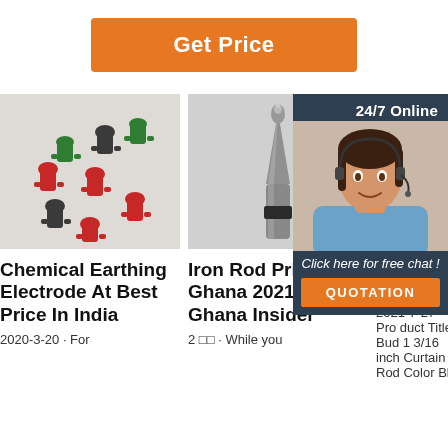[Figure (other): Orange 'Get Price' button]
[Figure (photo): Photo of chemical earthing electrode connectors in red, green, black colors]
[Figure (photo): Photo of a metallic iron rod tip/nozzle]
[Figure (photo): Partial photo of a metallic object, gray background]
[Figure (photo): 24/7 Online chat panel with photo of woman with headset, 'Click here for free chat!' text and QUOTATION button]
Chemical Earthing Electrode At Best Price In India
Iron Rod Prices In Ghana 2021. » Ghana Insider
Fis... Wa... Canada
2020-3-20 · For
2 □□ · While you
2021-7-27 · Pro duct Title Bud 1 3/16 inch Curtain Rod Color Bl...